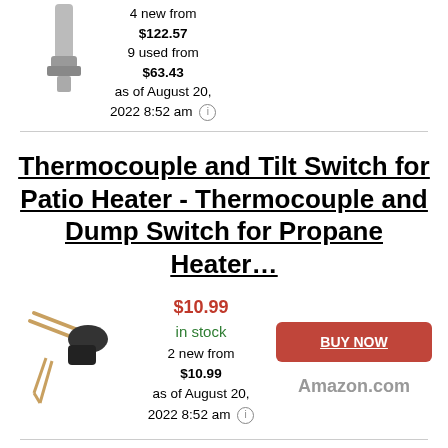[Figure (photo): Product image of a heater component (top, partially visible)]
4 new from $122.57
9 used from $63.43
as of August 20, 2022 8:52 am
Thermocouple and Tilt Switch for Patio Heater - Thermocouple and Dump Switch for Propane Heater...
[Figure (photo): Product image of a thermocouple and tilt switch component]
$10.99 in stock
2 new from $10.99
as of August 20, 2022 8:52 am
BUY NOW
Amazon.com
Patio Heater, EAST OAK 50,000 BTU Outdoor Patio Heater...